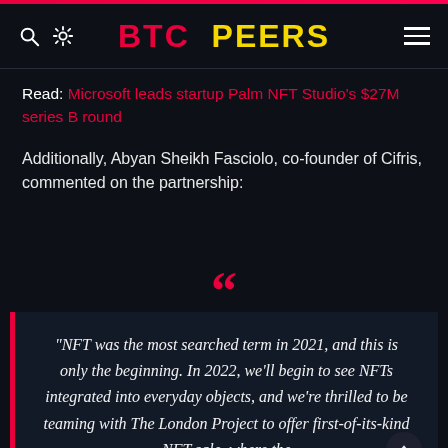BTC PEERS
Read: Microsoft leads startup Palm NFT Studio's $27M series B round
Additionally, Abyan Sheikh Fasciolo, co-founder of Cifris, commented on the partnership:
"NFT was the most searched term in 2021, and this is only the beginning. In 2022, we'll begin to see NFTs integrated into everyday objects, and we're thrilled to be teaming with The London Project to offer first-of-its-kind NFT sale, where the